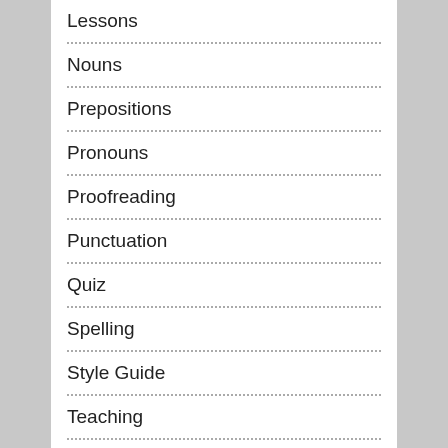Lessons
Nouns
Prepositions
Pronouns
Proofreading
Punctuation
Quiz
Spelling
Style Guide
Teaching
T…